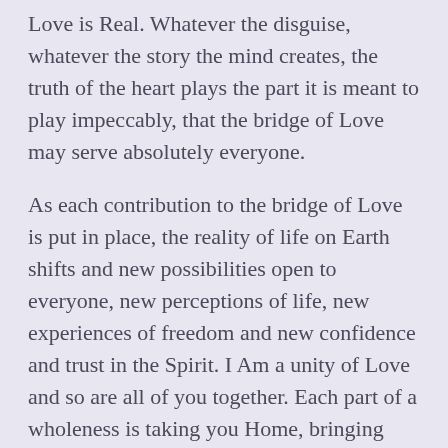Love is Real. Whatever the disguise, whatever the story the mind creates, the truth of the heart plays the part it is meant to play impeccably, that the bridge of Love may serve absolutely everyone.
As each contribution to the bridge of Love is put in place, the reality of life on Earth shifts and new possibilities open to everyone, new perceptions of life, new experiences of freedom and new confidence and trust in the Spirit. I Am a unity of Love and so are all of you together. Each part of a wholeness is taking you Home, bringing you back to the truth of your being, and each is absolutely invaluable.
I Am with you and Am in you as a continuing...